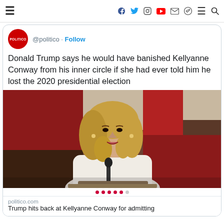≡  [social icons: facebook, twitter, instagram, youtube, email, telegram]  ≡  🔍
[Figure (screenshot): Politico Twitter/X profile logo - red circle with POLITICO text in white]
@politico · Follow
Donald Trump says he would have banished Kellyanne Conway from his inner circle if she had ever told him he lost the 2020 presidential election
[Figure (photo): Kellyanne Conway speaking at a podium, wearing a white dress, with red and white background, microphone in front]
politico.com
Trump hits back at Kellyanne Conway for admitting